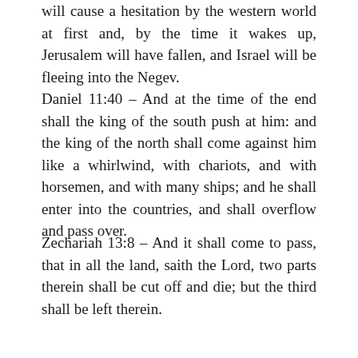will cause a hesitation by the western world at first and, by the time it wakes up, Jerusalem will have fallen, and Israel will be fleeing into the Negev.
Daniel 11:40 – And at the time of the end shall the king of the south push at him: and the king of the north shall come against him like a whirlwind, with chariots, and with horsemen, and with many ships; and he shall enter into the countries, and shall overflow and pass over.
Zechariah 13:8 – And it shall come to pass, that in all the land, saith the Lord, two parts therein shall be cut off and die; but the third shall be left therein.